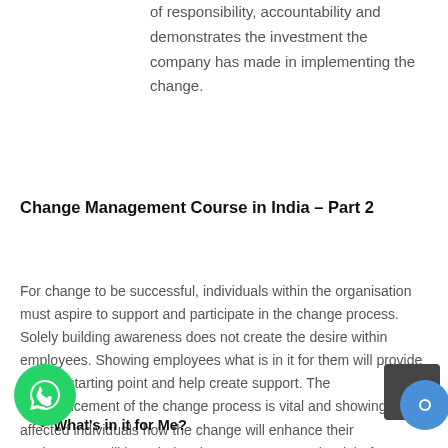of responsibility, accountability and demonstrates the investment the company has made in implementing the change.
Change Management Course in India – Part 2
For change to be successful, individuals within the organisation must aspire to support and participate in the change process. Solely building awareness does not create the desire within employees. Showing employees what is in it for them will provide a great starting point and help create support. The commencement of the change process is vital and showing the affected individuals how the change will enhance their environment will launch the change process on the right foot.
What's in it for Me?